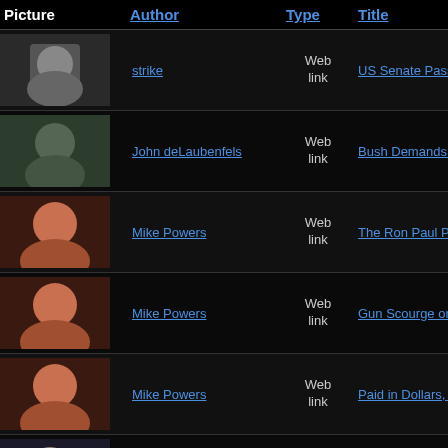| Picture | Author | Type | Title |
| --- | --- | --- | --- |
| [img] | strike | Web link | US Senate Passes Iraq Funds Bill |
| [img] | John deLaubenfels | Web link | Bush Demands Freedom to Torture |
| [img] | Mike Powers | Web link | The Ron Paul Problem |
| [img] | Mike Powers | Web link | Gun Scourge on Our Streets: Near Year |
| [img] | Mike Powers | Web link | Paid in Dollars, Expats Struggle to |
| [img] | Robert Kaercher | Web link | Wishful Thinking |
| [img] | Robert Kaercher | Web link | The Myth of the Social Contract |
| [img] | Robert Kaercher | Web link | International Apartheid in Rosw... |